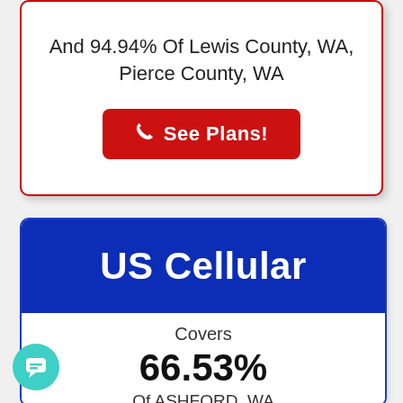And 94.94% Of Lewis County, WA, Pierce County, WA
See Plans!
US Cellular
Covers
66.53%
Of ASHFORD, WA